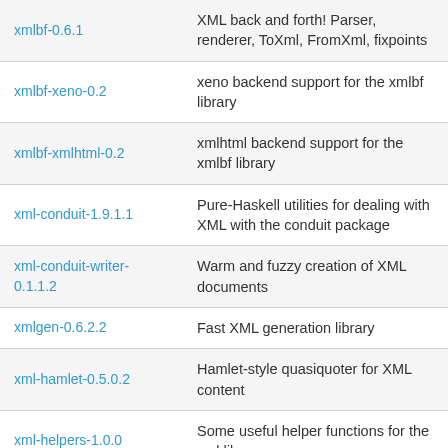| Package | Description |
| --- | --- |
| xmlbf-0.6.1 | XML back and forth! Parser, renderer, ToXml, FromXml, fixpoints |
| xmlbf-xeno-0.2 | xeno backend support for the xmlbf library |
| xmlbf-xmlhtml-0.2 | xmlhtml backend support for the xmlbf library |
| xml-conduit-1.9.1.1 | Pure-Haskell utilities for dealing with XML with the conduit package |
| xml-conduit-writer-0.1.1.2 | Warm and fuzzy creation of XML documents |
| xmlgen-0.6.2.2 | Fast XML generation library |
| xml-hamlet-0.5.0.2 | Hamlet-style quasiquoter for XML content |
| xml-helpers-1.0.0 | Some useful helper functions for the xml library |
| (partial row) | XML... (truncated) |